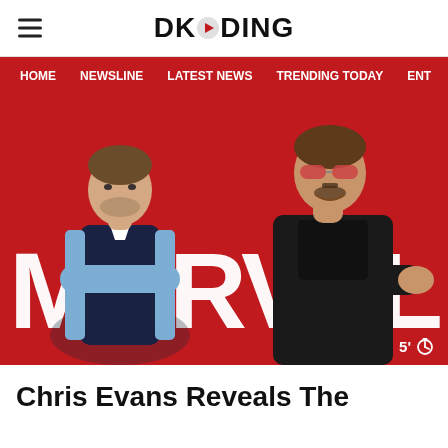DKODING
[Figure (screenshot): Navigation bar with red background showing menu items: HOME, NEWSLINE, LATEST NEWS, TRENDING TODAY, ENT]
[Figure (photo): Hero image showing two men (Chris Evans and Robert Downey Jr.) posed in front of a large white MARVEL text on a red background. A timer badge shows 5' with a stopwatch icon.]
Chris Evans Reveals The